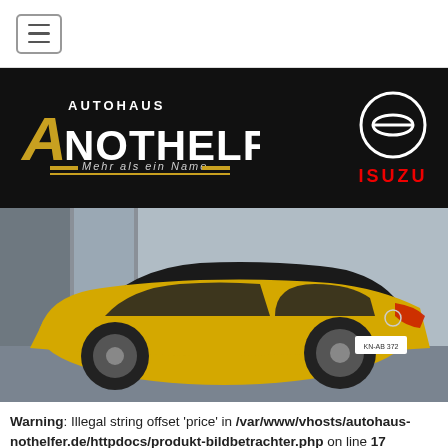[Figure (screenshot): Hamburger menu icon button in top navigation bar]
[Figure (logo): Autohaus Nothelfer dealership banner with Opel and ISUZU logos on black background. Text reads: Autohaus Nothelfer - Mehr als ein Name]
[Figure (photo): Yellow Opel Astra Sports Tourer estate car photographed from the rear three-quarter angle in front of a grey industrial building]
Warning: Illegal string offset 'price' in /var/www/vhosts/autohaus-nothelfer.de/httpdocs/produkt-bildbetrachter.php on line 17